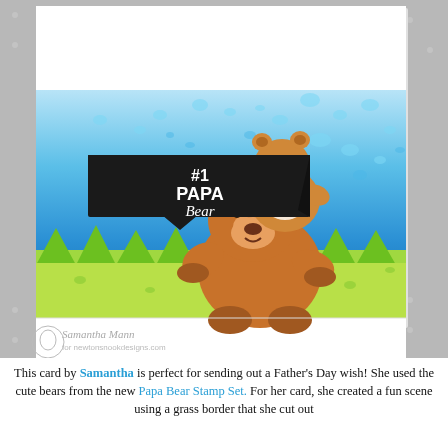[Figure (photo): A handmade greeting card by Samantha Mann featuring two illustrated bears — a large papa bear and a small baby bear sitting on its lap — on a grass and sky background with blue splatter texture. A black banner stamp reads '#1 Papa Bear' in white. The card is photographed on a grey star-patterned background. A logo/signature reads 'Samantha Mann for newtonsnookdesigns.com'.]
This card by Samantha is perfect for sending out a Father's Day wish! She used the cute bears from the new Papa Bear Stamp Set. For her card, she created a fun scene using a grass border that she cut out